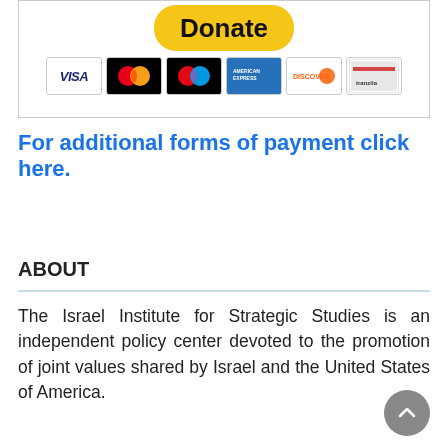[Figure (screenshot): PayPal Donate button above a row of credit card logos: VISA, Mastercard, Maestro, American Express, Discover, and another card]
For additional forms of payment click here.
ABOUT
The Israel Institute for Strategic Studies is an independent policy center devoted to the promotion of joint values shared by Israel and the United States of America.